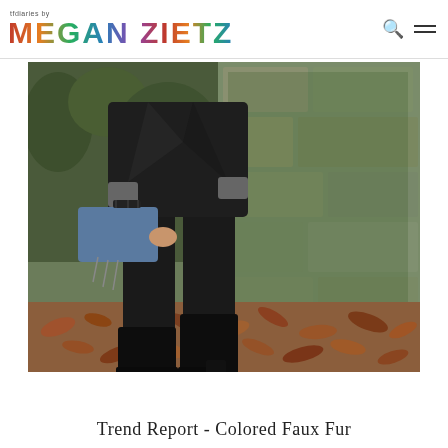tfdiaries by MEGAN ZIETZ
[Figure (photo): Fashion blog photo showing a person from waist down wearing black skinny jeans, black leather boots, a dark leather jacket with grey sweater cuffs, holding a blue clutch bag with chain details. Background is a mossy stone wall with autumn fallen leaves on the ground.]
Trend Report - Colored Faux Fur